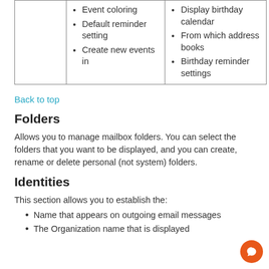|  |  |  |
| --- | --- | --- |
|  | • Event coloring
• Default reminder setting
• Create new events in | • Display birthday calendar
• From which address books
• Birthday reminder settings |
Back to top
Folders
Allows you to manage mailbox folders. You can select the folders that you want to be displayed, and you can create, rename or delete personal (not system) folders.
Identities
This section allows you to establish the:
Name that appears on outgoing email messages
The Organization name that is displayed